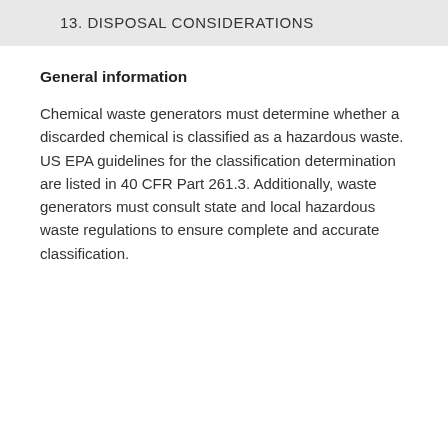13. DISPOSAL CONSIDERATIONS
General information
Chemical waste generators must determine whether a discarded chemical is classified as a hazardous waste. US EPA guidelines for the classification determination are listed in 40 CFR Part 261.3. Additionally, waste generators must consult state and local hazardous waste regulations to ensure complete and accurate classification.